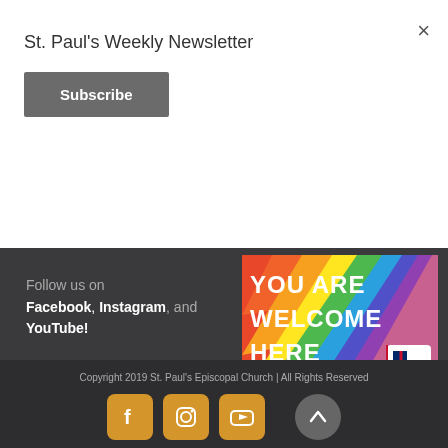St. Paul's Weekly Newsletter
Subscribe
Follow us on Facebook, Instagram, and YouTube!
[Figure (illustration): Rainbow diagonal stripes banner with text YOU ARE WELCOME HERE and Episcopal Church shield logo]
Copyright 2019 St. Paul's Episcopal Church | All Rights Reserved
[Figure (logo): Social media icons: Facebook, Instagram, YouTube in golden/orange rounded square buttons, and a back-to-top arrow button]